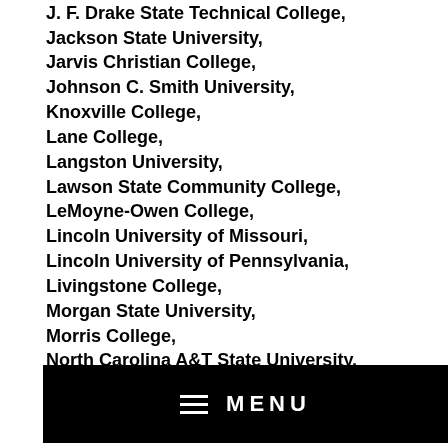Howard University,
J. F. Drake State Technical College,
Jackson State University,
Jarvis Christian College,
Johnson C. Smith University,
Knoxville College,
Lane College,
Langston University,
Lawson State Community College,
LeMoyne-Owen College,
Lincoln University of Missouri,
Lincoln University of Pennsylvania,
Livingstone College,
Morgan State University,
Morris College,
North Carolina A&T State University,
Oakwood University,
[Figure (other): Black navigation menu bar with hamburger icon and MENU text in white]
Shorter College,